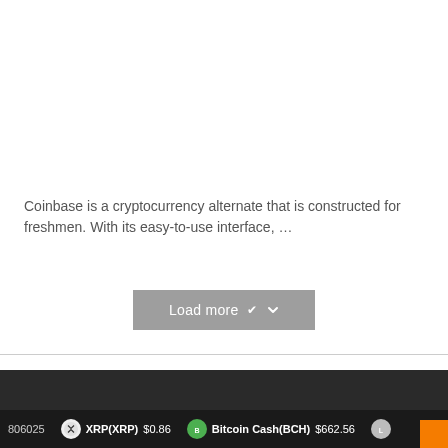Coinbase is a cryptocurrency alternate that is constructed for freshmen. With its easy-to-use interface, ...
[Figure (other): Load more button with chevron down arrow, gray background]
806025   XRP(XRP) $0.86   Bitcoin Cash(BCH) $662.56   [Litecoin icon]